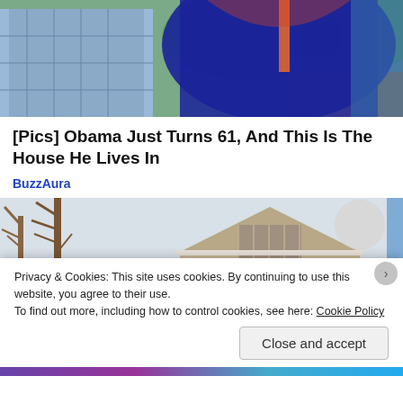[Figure (photo): Cropped photo of two people outdoors, man in blue checked shirt on left, woman in dark blue dress on right, green garden background]
[Pics] Obama Just Turns 61, And This Is The House He Lives In
BuzzAura
[Figure (photo): Photo of a house exterior with gabled roof, tan/beige siding, bare trees, overcast sky]
Privacy & Cookies: This site uses cookies. By continuing to use this website, you agree to their use.
To find out more, including how to control cookies, see here: Cookie Policy
Close and accept